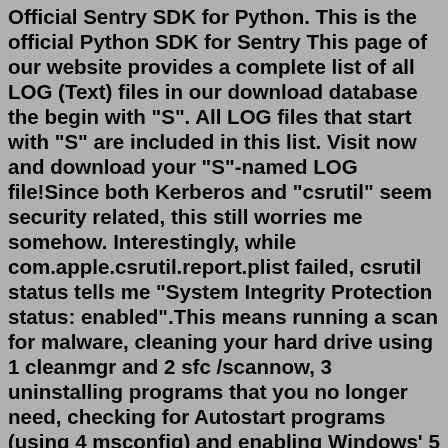Official Sentry SDK for Python. This is the official Python SDK for Sentry This page of our website provides a complete list of all LOG (Text) files in our download database the begin with "S". All LOG files that start with "S" are included in this list. Visit now and download your "S"-named LOG file!Since both Kerberos and "csrutil" seem security related, this still worries me somehow. Interestingly, while com.apple.csrutil.report.plist failed, csrutil status tells me "System Integrity Protection status: enabled".This means running a scan for malware, cleaning your hard drive using 1 cleanmgr and 2 sfc /scannow, 3 uninstalling programs that you no longer need, checking for Autostart programs (using 4 msconfig) and enabling Windows' 5 Automatic Update. Always remember to perform periodic backups, or at least to set restore points.An arbitrary file creation by privilege escalation vulnerability in Trend Micro Apex One, Apex One as a Service, Worry-Free Business Security 10.0 SP1, and Worry-Free Business Security Services could allow a local